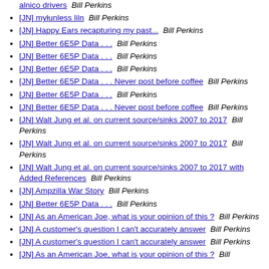[JN] alnico drivers  Bill Perkins
[JN] myłunless liln  Bill Perkins
[JN] Happy Ears recapturing my past...  Bill Perkins
[JN] Better 6E5P Data . . .  Bill Perkins
[JN] Better 6E5P Data . . .  Bill Perkins
[JN] Better 6E5P Data . . .  Bill Perkins
[JN] Better 6E5P Data . . . Never post before coffee  Bill Perkins
[JN] Better 6E5P Data . . .  Bill Perkins
[JN] Better 6E5P Data . . . Never post before coffee  Bill Perkins
[JN] Walt Jung et al. on current source/sinks 2007 to 2017  Bill Perkins
[JN] Walt Jung et al. on current source/sinks 2007 to 2017  Bill Perkins
[JN] Walt Jung et al. on current source/sinks 2007 to 2017 with Added References  Bill Perkins
[JN] Ampzilla War Story  Bill Perkins
[JN] Better 6E5P Data . . .  Bill Perkins
[JN] As an American Joe, what is your opinion of this ?  Bill Perkins
[JN] A customer's question I can't accurately answer  Bill Perkins
[JN] A customer's question I can't accurately answer  Bill Perkins
[JN] As an American Joe, what is your opinion of this ?  Bill Perkins